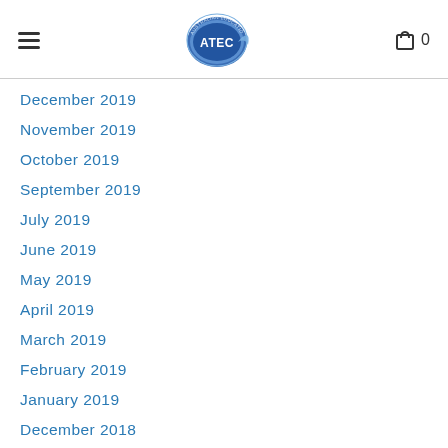ATEC - Australian Education Council
December 2019
November 2019
October 2019
September 2019
July 2019
June 2019
May 2019
April 2019
March 2019
February 2019
January 2019
December 2018